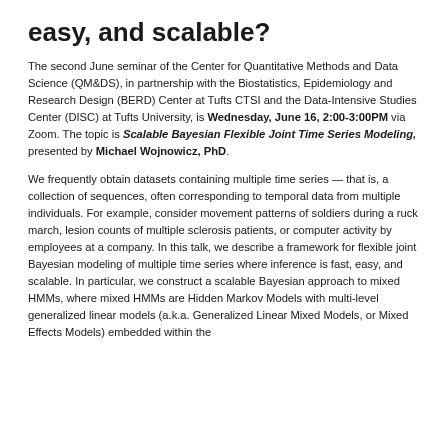easy, and scalable?
The second June seminar of the Center for Quantitative Methods and Data Science (QM&DS), in partnership with the Biostatistics, Epidemiology and Research Design (BERD) Center at Tufts CTSI and the Data-Intensive Studies Center (DISC) at Tufts University, is Wednesday, June 16, 2:00-3:00PM via Zoom. The topic is Scalable Bayesian Flexible Joint Time Series Modeling, presented by Michael Wojnowicz, PhD.
We frequently obtain datasets containing multiple time series — that is, a collection of sequences, often corresponding to temporal data from multiple individuals. For example, consider movement patterns of soldiers during a ruck march, lesion counts of multiple sclerosis patients, or computer activity by employees at a company. In this talk, we describe a framework for flexible joint Bayesian modeling of multiple time series where inference is fast, easy, and scalable. In particular, we construct a scalable Bayesian approach to mixed HMMs, where mixed HMMs are Hidden Markov Models with multi-level generalized linear models (a.k.a. Generalized Linear Mixed Models, or Mixed Effects Models) embedded within the